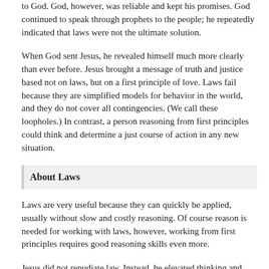to God. God, however, was reliable and kept his promises. God continued to speak through prophets to the people; he repeatedly indicated that laws were not the ultimate solution.
When God sent Jesus, he revealed himself much more clearly than ever before. Jesus brought a message of truth and justice based not on laws, but on a first principle of love. Laws fail because they are simplified models for behavior in the world, and they do not cover all contingencies. (We call these loopholes.) In contrast, a person reasoning from first principles could think and determine a just course of action in any new situation.
About Laws
Laws are very useful because they can quickly be applied, usually without slow and costly reasoning. Of course reason is needed for working with laws, however, working from first principles requires good reasoning skills even more.
Jesus did not repudiate law. Instead, he elevated thinking and reason - the hallmarks of mind. This fulfilled the law; the